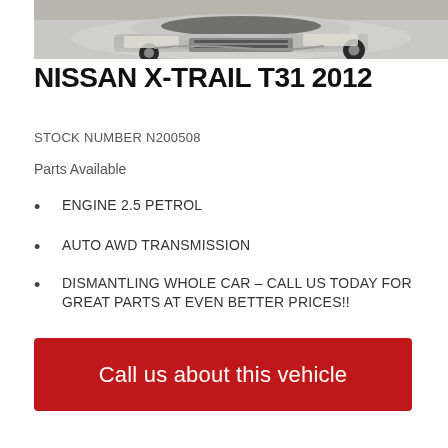[Figure (photo): Damaged silver Nissan X-Trail SUV photographed from the front-left angle in a garage/workshop setting. The vehicle shows front-end damage.]
NISSAN X-TRAIL T31 2012
STOCK NUMBER N200508
Parts Available
ENGINE 2.5 PETROL
AUTO AWD TRANSMISSION
DISMANTLING WHOLE CAR – CALL US TODAY FOR GREAT PARTS AT EVEN BETTER PRICES!!
Call us about this vehicle